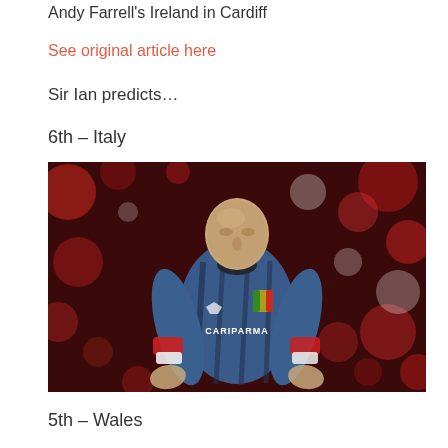Andy Farrell's Ireland in Cardiff
See original article here
Sir Ian predicts...
6th – Italy
[Figure (photo): A rugby player wearing a blue Italy jersey with 'CARIPARMA' sponsor text and the Italian flag badge, standing with hands on hips against a blurred red bokeh background. The image has an artistic/painterly digital effect applied.]
5th – Wales